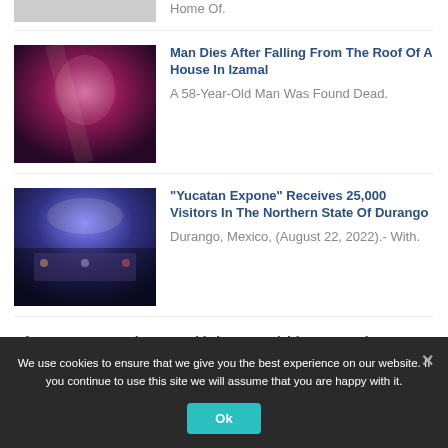Home Of.
[Figure (photo): Pink/purple lit indoor event or corridor photo, partially visible at top]
Man Dies After Falling From The Roof Of A House In Izamal
A 58-Year-Old Man Was Found Dead.
[Figure (photo): Crowded indoor event/conference hall with stage lighting]
“Yucatan Expone” Receives 25,000 Visitors In The Northern State Of Durango
Durango, Mexico, (August 22, 2022).- With.
After Two Years, The Tecnológico De Mérida Starts Classes On Monday, August 22
Teachers And Administrative Staff Of The.
We use cookies to ensure that we give you the best experience on our website. If you continue to use this site we will assume that you are happy with it.